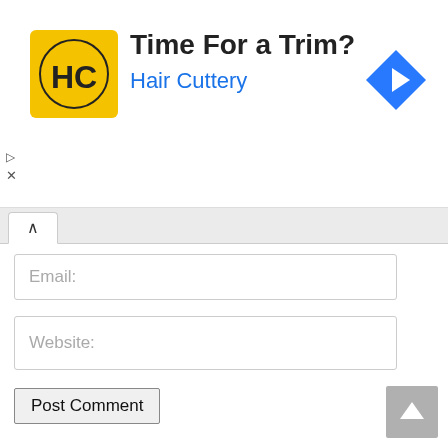[Figure (illustration): Advertisement banner: Hair Cuttery logo (yellow square with HC letters) and text 'Time For a Trim? Hair Cuttery' with a blue diamond navigation arrow icon on the right.]
Email:
Website:
Post Comment
This site uses Akismet to reduce spam. Learn how your comment data is processed.